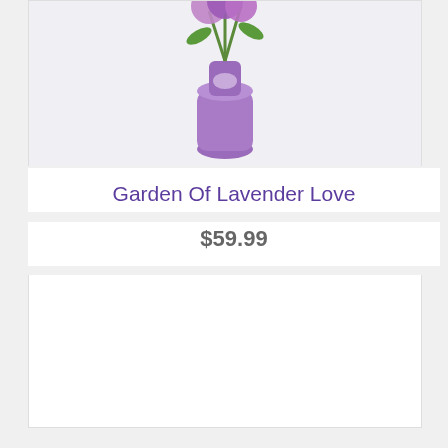[Figure (photo): Partial view of a lavender/purple vase with flowers, cropped at top of page]
Garden Of Lavender Love
$59.99
[Figure (photo): A mixed bouquet of pink and red flowers including gerbera daisies, roses, and lilies in a clear glass vase with a pink ribbon bow]
Fields Of Europe Romance